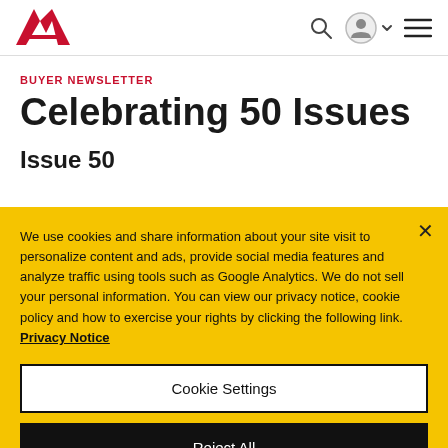AA logo with navigation icons: search, user account, chevron, hamburger menu
BUYER NEWSLETTER
Celebrating 50 Issues
Issue 50
We use cookies and share information about your site visit to personalize content and ads, provide social media features and analyze traffic using tools such as Google Analytics. We do not sell your personal information. You can view our privacy notice, cookie policy and how to exercise your rights by clicking the following link. Privacy Notice
Cookie Settings
Reject All